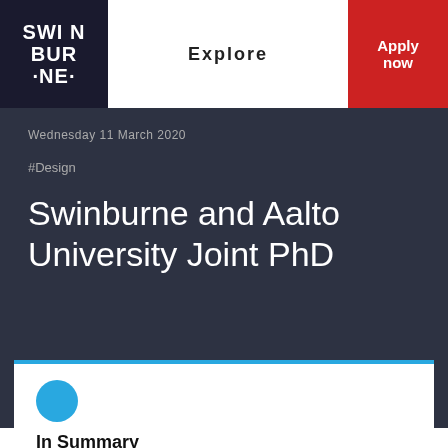SWINBURNE
Explore
Apply now
Wednesday 11 March 2020
#Design
Swinburne and Aalto University Joint PhD
In Summary
Designer Floris Van der Marel is the first Swinburne Aalto Joint PhD student